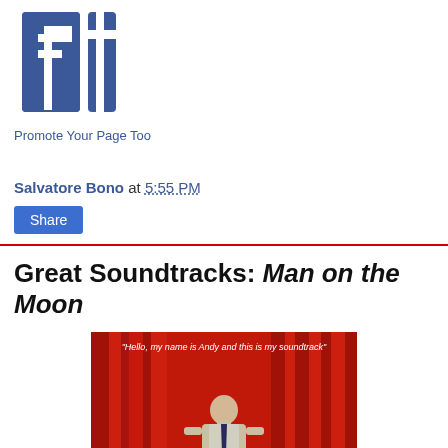[Figure (logo): Facebook logo - blue 'f' and 't' letters on white background]
Promote Your Page Too
Salvatore Bono at 5:55 PM
Share
Great Soundtracks: Man on the Moon
[Figure (photo): Man on the Moon soundtrack album cover featuring Jim Carrey as Andy Kaufman standing in front of red curtains with text 'Hello, my name is Andy and this is my soundtrack']